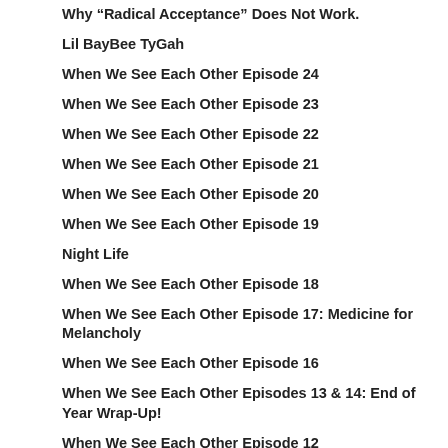Why “Radical Acceptance” Does Not Work.
Lil BayBee TyGah
When We See Each Other Episode 24
When We See Each Other Episode 23
When We See Each Other Episode 22
When We See Each Other Episode 21
When We See Each Other Episode 20
When We See Each Other Episode 19
Night Life
When We See Each Other Episode 18
When We See Each Other Episode 17: Medicine for Melancholy
When We See Each Other Episode 16
When We See Each Other Episodes 13 & 14: End of Year Wrap-Up!
When We See Each Other Episode 12